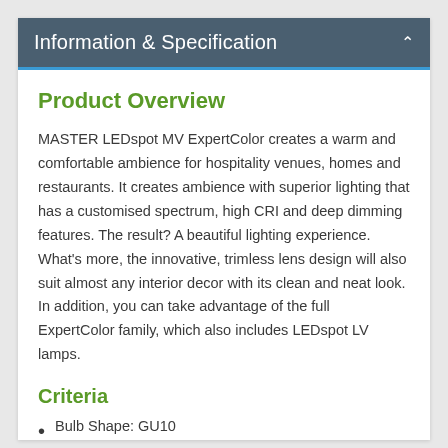Information & Specification
Product Overview
MASTER LEDspot MV ExpertColor creates a warm and comfortable ambience for hospitality venues, homes and restaurants. It creates ambience with superior lighting that has a customised spectrum, high CRI and deep dimming features. The result? A beautiful lighting experience. What's more, the innovative, trimless lens design will also suit almost any interior decor with its clean and neat look. In addition, you can take advantage of the full ExpertColor family, which also includes LEDspot LV lamps.
Criteria
Bulb Shape: GU10